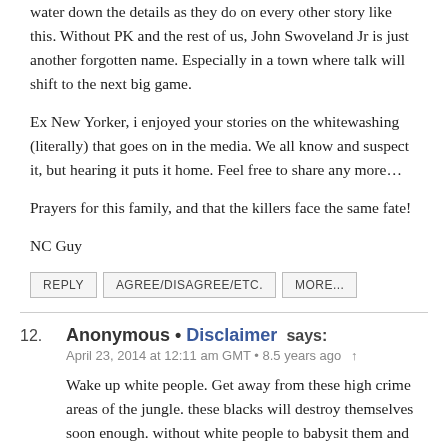water down the details as they do on every other story like this. Without PK and the rest of us, John Swoveland Jr is just another forgotten name. Especially in a town where talk will shift to the next big game.
Ex New Yorker, i enjoyed your stories on the whitewashing (literally) that goes on in the media. We all know and suspect it, but hearing it puts it home. Feel free to share any more…
Prayers for this family, and that the killers face the same fate!
NC Guy
REPLY   AGREE/DISAGREE/ETC.   MORE...
12. Anonymous • Disclaimer says: April 23, 2014 at 12:11 am GMT • 8.5 years ago
Wake up white people. Get away from these high crime areas of the jungle. these blacks will destroy themselves soon enough. without white people to babysit them and then we can have a